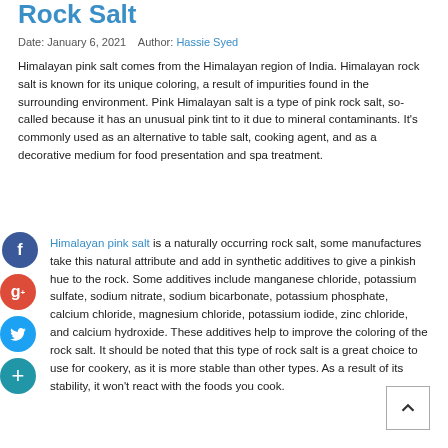Rock Salt
Date: January 6, 2021   Author: Hassie Syed
Himalayan pink salt comes from the Himalayan region of India. Himalayan rock salt is known for its unique coloring, a result of impurities found in the surrounding environment. Pink Himalayan salt is a type of pink rock salt, so-called because it has an unusual pink tint to it due to mineral contaminants. It's commonly used as an alternative to table salt, cooking agent, and as a decorative medium for food presentation and spa treatment.
Though Himalayan pink salt is a naturally occurring rock salt, some manufactures take this natural attribute and add in synthetic additives to give a pinkish hue to the rock. Some additives include manganese chloride, potassium sulfate, sodium nitrate, sodium bicarbonate, potassium phosphate, calcium chloride, magnesium chloride, potassium iodide, zinc chloride, and calcium hydroxide. These additives help to improve the coloring of the rock salt. It should be noted that this type of rock salt is a great choice to use for cookery, as it is more stable than other types. As a result of its stability, it won't react with the foods you cook.